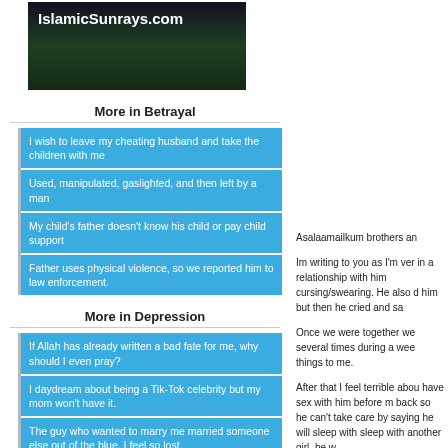[Figure (logo): IslamicSunrays.com logo banner with dark forest/nature background]
More in Betrayal
I wish to leave my cheating husband and take the children with me
Used, manipulated, gaslighted, and then left by a man
My child's father doesn't know his child or pay child support
Father uses physical violence, so we reported him to law enforcement.
More in Depression
If Allah has already written a bad fate for me, why should I even pray?
I daydream about being a Tik-Tok celebrity but my mom won't have it.
The guy who wanted to marry me married someone else out of the blue. I feel so lost.
I chose my girl over Allah and am having a crisis of faith
Asalaamailkum brothers an
Im writing to you as I'm ver in a relationship with him cursing/swearing. He also d him but then he cried and sa
Once we were together we several times during a wee things to me.
After that I feel terrible abou have sex with him before m back so he can't take care by saying he will sleep with sleep with another girl, he w
He also said that he wants thinks it's frustrating and ou him easily. I was heartbro